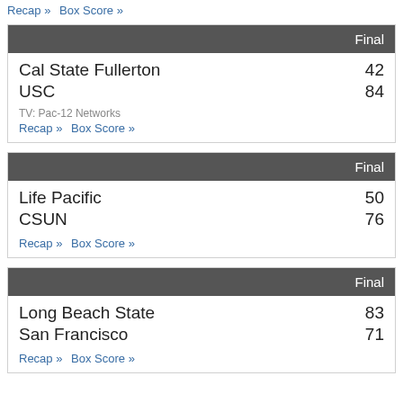Recap» Box Score»
| Team | Final |
| --- | --- |
| Cal State Fullerton | 42 |
| USC | 84 |
TV: Pac-12 Networks
Recap» Box Score»
| Team | Final |
| --- | --- |
| Life Pacific | 50 |
| CSUN | 76 |
Recap» Box Score»
| Team | Final |
| --- | --- |
| Long Beach State | 83 |
| San Francisco | 71 |
Recap» Box Score»